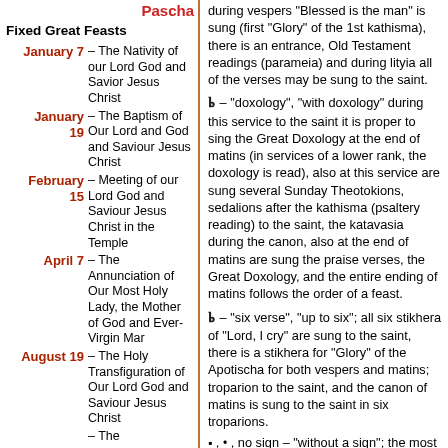Pascha
Fixed Great Feasts
January 7 – The Nativity of our Lord God and Savior Jesus Christ
January 19 – The Baptism of Our Lord and God and Saviour Jesus Christ
February 15 – Meeting of our Lord God and Saviour Jesus Christ in the Temple
April 7 – The Annunciation of Our Most Holy Lady, the Mother of God and Ever-Virgin Mar
August 19 – The Holy Transfiguration of Our Lord God and Saviour Jesus Christ
– The
during vespers "Blessed is the man" is sung (first "Glory" of the 1st kathisma), there is an entrance, Old Testament readings (parameia) and during lityia all of the verses may be sung to the saint.
Ꞓ – "doxology", "with doxology" during this service to the saint it is proper to sing the Great Doxology at the end of matins (in services of a lower rank, the doxology is read), also at this service are sung several Sunday Theotokions, sedalions after the kathisma (psaltery reading) to the saint, the katavasia during the canon, also at the end of matins are sung the praise verses, the Great Doxology, and the entire ending of matins follows the order of a feast.
Ꞓ – "six verse", "up to six"; all six stikhera of "Lord, I cry" are sung to the saint, there is a stikhera for "Glory" of the Apotischa for both vespers and matins; troparion to the saint, and the canon of matins is sung to the saint in six troparions.
▪ , • , no sign – "without a sign"; the most ordinary, daily service to a saint, to whom it is customary to sing only three stikhera at "Lord I cry" and the canon of matins in four troparions. There may not be a troparion to the saint.